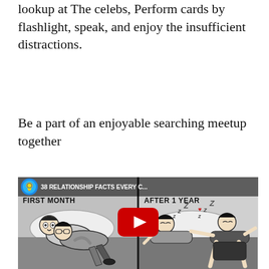lookup at The celebs, Perform cards by flashlight, speak, and enjoy the insufficient distractions.
Be a part of an enjoyable searching meetup together
[Figure (screenshot): YouTube video thumbnail showing a comic/cartoon split into two panels: 'FIRST MONTH' on the left showing two people sleeping closely together, and 'AFTER 1 YEAR' on the right showing two people sleeping apart. A YouTube play button is overlaid in the center. A channel icon and video title '38 RELATIONSHIP FACTS EVERY C...' are shown in the top bar.]